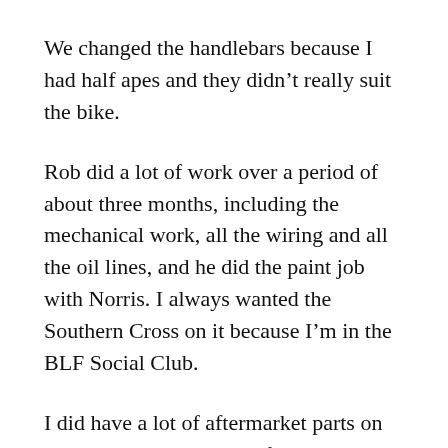We changed the handlebars because I had half apes and they didn't really suit the bike.
Rob did a lot of work over a period of about three months, including the mechanical work, all the wiring and all the oil lines, and he did the paint job with Norris. I always wanted the Southern Cross on it because I'm in the BLF Social Club.
I did have a lot of aftermarket parts on it, like the shockies. The first time I took it out for a ride after Rob got it up and going, I blew one of the shockies. They weren't real good so I told Rob I wanted air shockies to go up and down, and he fitted a set of Leg and Air Shock...